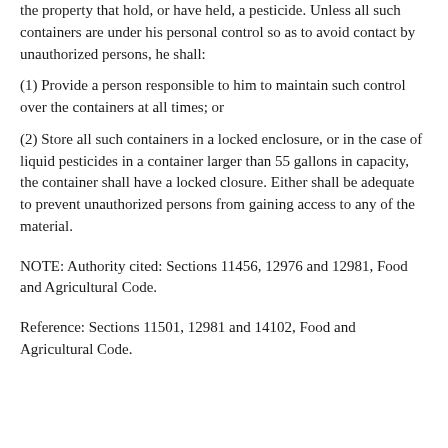the property that hold, or have held, a pesticide. Unless all such containers are under his personal control so as to avoid contact by unauthorized persons, he shall:
(1) Provide a person responsible to him to maintain such control over the containers at all times; or
(2) Store all such containers in a locked enclosure, or in the case of liquid pesticides in a container larger than 55 gallons in capacity, the container shall have a locked closure. Either shall be adequate to prevent unauthorized persons from gaining access to any of the material.
NOTE: Authority cited: Sections 11456, 12976 and 12981, Food and Agricultural Code.
Reference: Sections 11501, 12981 and 14102, Food and Agricultural Code.